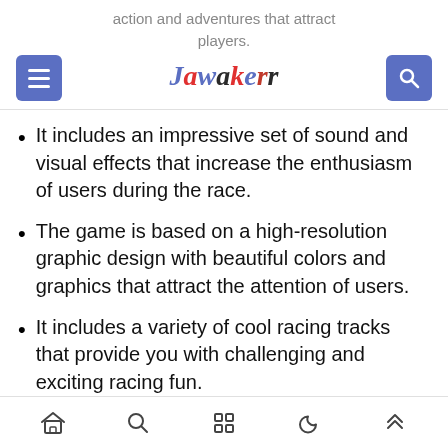action and adventures that attract players. Jawakerr
It includes an impressive set of sound and visual effects that increase the enthusiasm of users during the race.
The game is based on a high-resolution graphic design with beautiful colors and graphics that attract the attention of users.
It includes a variety of cool racing tracks that provide you with challenging and exciting racing fun.
Navigation icons: home, search, apps, moon, up